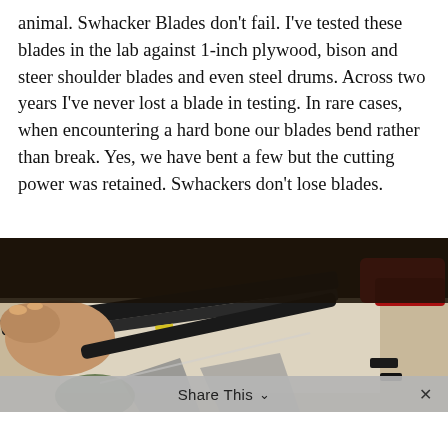animal. Swhacker Blades don't fail. I've tested these blades in the lab against 1-inch plywood, bison and steer shoulder blades and even steel drums. Across two years I've never lost a blade in testing. In rare cases, when encountering a hard bone our blades bend rather than break. Yes, we have bent a few but the cutting power was retained. Swhackers don't lose blades.
[Figure (photo): Close-up photo of hands holding archery broadhead blades on a workbench with tools including red-handled pliers and other equipment visible in background]
Share This  ∨  ×